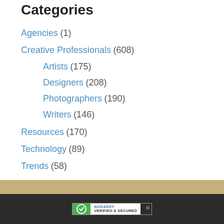Categories
Agencies (1)
Creative Professionals (608)
Artists (175)
Designers (208)
Photographers (190)
Writers (146)
Resources (170)
Technology (89)
Trends (58)
Uncategorized (461)
[Figure (logo): GoDaddy Verified & Secured badge in website footer]